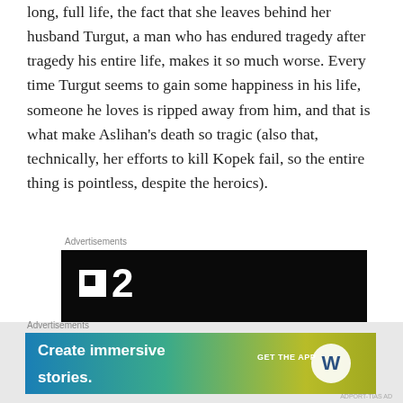long, full life, the fact that she leaves behind her husband Turgut, a man who has endured tragedy after tragedy his entire life, makes it so much worse. Every time Turgut seems to gain some happiness in his life, someone he loves is ripped away from him, and that is what make Aslihan's death so tragic (also that, technically, her efforts to kill Kopek fail, so the entire thing is pointless, despite the heroics).
[Figure (screenshot): Advertisement banner with dark background showing a logo with a square icon and number 2, with text 'Fewer meetings,' in bold white at the bottom]
Advertisements
[Figure (screenshot): Advertisement banner with gradient background (blue to green-yellow) showing 'Create immersive stories.' and 'GET THE APP' with WordPress logo]
Advertisements